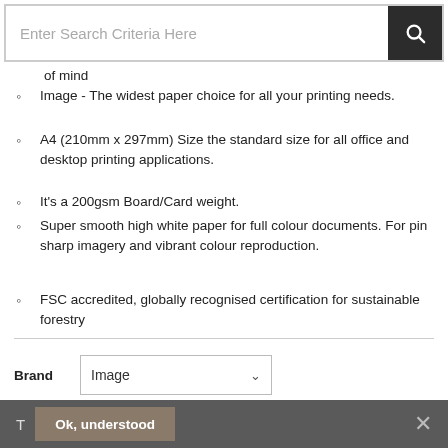[Figure (screenshot): Search bar with placeholder text 'Enter Search Criteria Here' and dark search button with magnifying glass icon]
of mind
Image - The widest paper choice for all your printing needs.
A4 (210mm x 297mm) Size the standard size for all office and desktop printing applications.
It's a 200gsm Board/Card weight.
Super smooth high white paper for full colour documents. For pin sharp imagery and vibrant colour reproduction.
FSC accredited, globally recognised certification for sustainable forestry
Brand: Image
£33.05 (RRP: £39.26)
Ok, understood